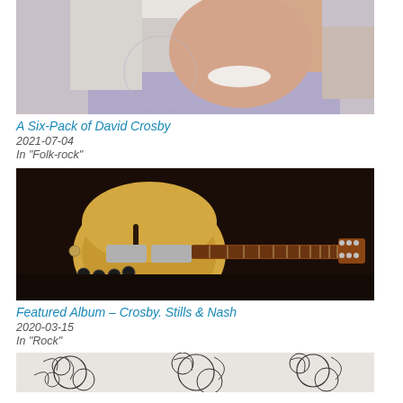[Figure (photo): Elderly man with white hair and white mustache, wearing a lavender shirt, cropped photo showing face and upper body]
A Six-Pack of David Crosby
2021-07-04
In "Folk-rock"
[Figure (photo): A natural wood semi-hollow electric guitar (Rickenbacker style) with a long fretboard displayed on a dark background]
Featured Album – Crosby. Stills & Nash
2020-03-15
In "Rock"
[Figure (photo): Black and white illustration or album artwork with floral/decorative pattern, partially visible at bottom of page]